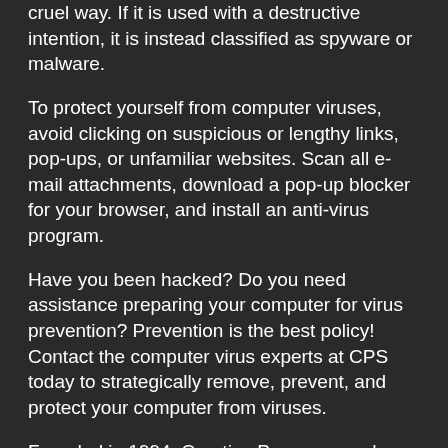programs often utilize AdWare, but not in a cruel way. If it is used with a destructive intention, it is instead classified as spyware or malware.
To protect yourself from computer viruses, avoid clicking on suspicious or lengthy links, pop-ups, or unfamiliar websites. Scan all e-mail attachments, download a pop-up blocker for your browser, and install an anti-virus program.
Have you been hacked? Do you need assistance preparing your computer for virus prevention? Prevention is the best policy! Contact the computer virus experts at CPS today to strategically remove, prevent, and protect your computer from viruses.
Founded in 1994, Creative Programs and